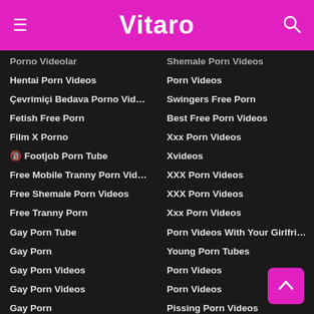Vitaro
Porno Videolar
Hentai Porn Videos
Çevrimiçi Bedava Porno Video...
Fetish Free Porn
Film X Porno
🔞 Footjob Porn Tube
Free Mobile Tranny Porn Videos
Free Shemale Porn Videos
Free Tranny Porn
Gay Porn Tube
Gay Porn
Gay Porn Videos
Gay Porn Videos
Gay Porn
Gay Porn Twink
Girlfriend Porn Hd
Group Free Porn Videos
Free Porn Videos
HD Porn Videos
HD Porn Videos
Shemale Porn Videos
Porn Videos
Swingers Free Porn
Best Free Porn Videos
Xxx Porn Videos
Xvideos
XXX Porn Videos
XXX Porn Videos
Xxx Porn Videos
Porn Videos With Your Girlfrie...
Young Porn Tubes
Porn Videos
Porn Videos
Pissing Porn Videos
Porn Videos
Free Porn Videos
Panty Free Porn
Bedava Pornolar Videoları
One Porn
Videos Porno